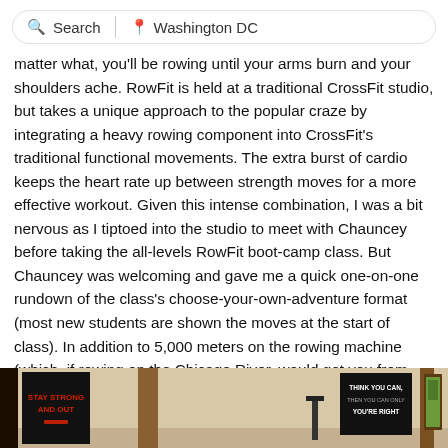Search | Washington DC
matter what, you'll be rowing until your arms burn and your shoulders ache. RowFit is held at a traditional CrossFit studio, but takes a unique approach to the popular craze by integrating a heavy rowing component into CrossFit's traditional functional movements. The extra burst of cardio keeps the heart rate up between strength moves for a more effective workout. Given this intense combination, I was a bit nervous as I tiptoed into the studio to meet with Chauncey before taking the all-levels RowFit boot-camp class. But Chauncey was welcoming and gave me a quick one-on-one rundown of the class's choose-your-own-adventure format (most new students are shown the moves at the start of class). In addition to 5,000 meters on the rowing machine (which, if rowing on the Chicago River, would get you from Navy Pier to about the southern edge of Goose Island), we'd have to incorporate burpees, pushups, kettlebell swings, jumping squats, and box steps.
[Figure (photo): Interior photo of a CrossFit/RowFit studio showing motivational signs on the wall. Left sign is black with red text reading 'AND OUT', center sign is black with white text reading 'THINK YOU CAN, YOU'RE RIGHT', right sign appears to show a nature/outdoor scene in a frame. Wooden columns visible.]